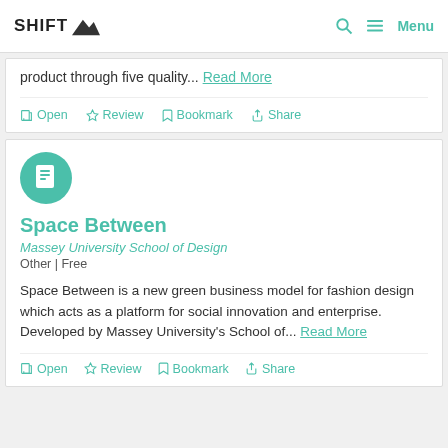SHIFT Menu
product through five quality... Read More
Open Review Bookmark Share
Space Between
Massey University School of Design
Other | Free
Space Between is a new green business model for fashion design which acts as a platform for social innovation and enterprise. Developed by Massey University's School of... Read More
Open Review Bookmark Share